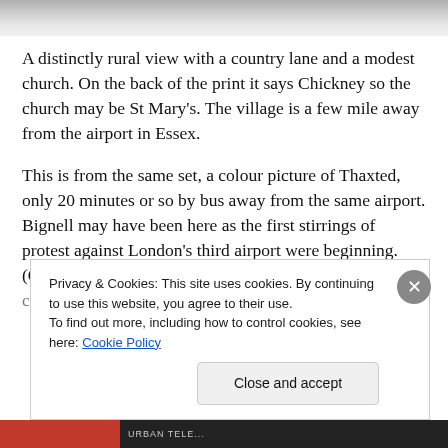[Figure (photo): A faded black-and-white photograph strip showing a wintry rural scene with a country lane and bare trees, partially visible at the top of the page.]
A distinctly rural view with a country lane and a modest church. On the back of the print it says Chickney so the church may be St Mary's. The village is a few mile away from the airport in Essex.
This is from the same set, a colour picture of Thaxted, only 20 minutes or so by bus away from the same airport. Bignell may have been here as the first stirrings of protest against London's third airport were beginning. (Or not. I confess to a lack of knowledge of airport history). The
Privacy & Cookies: This site uses cookies. By continuing to use this website, you agree to their use.
To find out more, including how to control cookies, see here: Cookie Policy
Close and accept